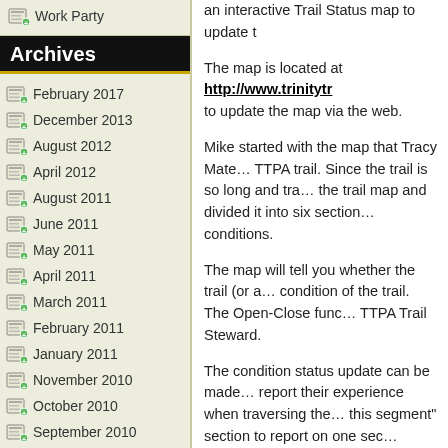Work Party
Archives
February 2017
December 2013
August 2012
April 2012
August 2011
June 2011
May 2011
April 2011
March 2011
February 2011
January 2011
November 2010
October 2010
September 2010
June 2010
May 2010
April 2010
an interactive Trail Status map to update t…
The map is located at http://www.trinitytr… to update the map via the web.
Mike started with the map that Tracy Mate… TTPA trail. Since the trail is so long and tra… the trail map and divided it into six section… conditions.
The map will tell you whether the trail (or a… condition of the trail. The Open-Close func… TTPA Trail Steward.
The condition status update can be made… report their experience when traversing the… this segment" section to report on one sec… segments' conditions" link at the top of the…
You can report on the Trail Condition Statu… specifics about the trail condition (in a pull… Muddy
Somewhat muddy